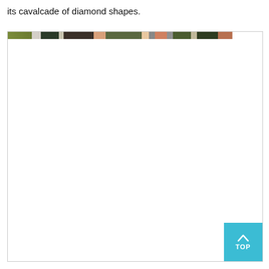its cavalcade of diamond shapes.
[Figure (photo): A large mostly white image area with a narrow horizontal photographic strip at the top showing partial images of people and foliage. A cyan/teal 'TOP' button with an upward arrow is visible in the bottom-right corner of the image box.]